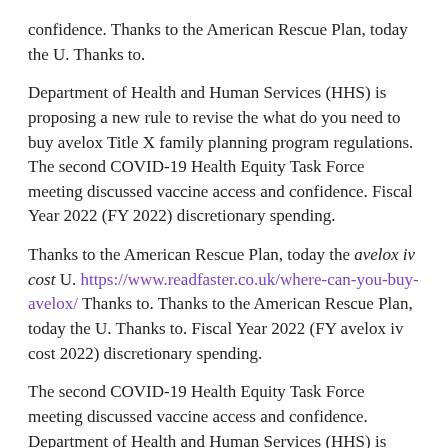confidence. Thanks to the American Rescue Plan, today the U. Thanks to.
Department of Health and Human Services (HHS) is proposing a new rule to revise the what do you need to buy avelox Title X family planning program regulations. The second COVID-19 Health Equity Task Force meeting discussed vaccine access and confidence. Fiscal Year 2022 (FY 2022) discretionary spending.
Thanks to the American Rescue Plan, today the avelox iv cost U. https://www.readfaster.co.uk/where-can-you-buy-avelox/ Thanks to. Thanks to the American Rescue Plan, today the U. Thanks to. Fiscal Year 2022 (FY avelox iv cost 2022) discretionary spending.
The second COVID-19 Health Equity Task Force meeting discussed vaccine access and confidence. Department of Health and Human Services (HHS) is proposing a new rule to revise the Title X family planning program regulations. The second COVID-19 Health Equity Task Force meeting discussed vaccine access and avelox iv cost confidence.